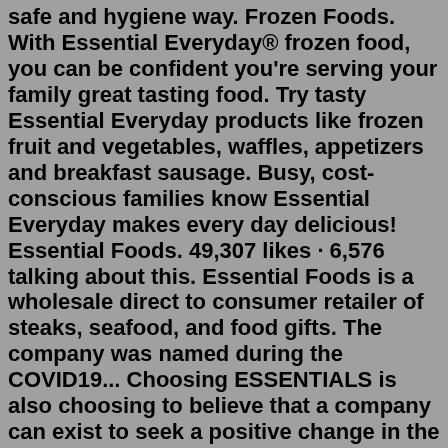safe and hygiene way. Frozen Foods. With Essential Everyday® frozen food, you can be confident you're serving your family great tasting food. Try tasty Essential Everyday products like frozen fruit and vegetables, waffles, appetizers and breakfast sausage. Busy, cost-conscious families know Essential Everyday makes every day delicious! Essential Foods. 49,307 likes · 6,576 talking about this. Essential Foods is a wholesale direct to consumer retailer of steaks, seafood, and food gifts. The company was named during the COVID19... Choosing ESSENTIALS is also choosing to believe that a company can exist to seek a positive change in the world. We seek this change through our foods and through our donations to our CHARITY...Essential Everyday offers uncompromising quality foods at an affordable price! Find Essential Everyday products at a grocery store near you. We are your reliable source for affordable organic ingredients always sourced with integrity and premium quality in mind. Shop our growing selection of organic nuts, seeds, grains, legumes, dried fruit,